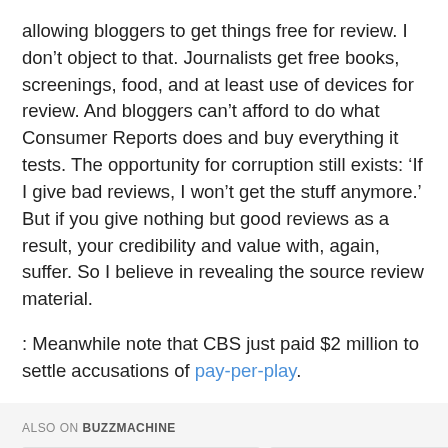allowing bloggers to get things free for review. I don't object to that. Journalists get free books, screenings, food, and at least use of devices for review. And bloggers can't afford to do what Consumer Reports does and buy everything it tests. The opportunity for corruption still exists: 'If I give bad reviews, I won't get the stuff anymore.' But if you give nothing but good reviews as a result, your credibility and value with, again, suffer. So I believe in revealing the source review material.
: Meanwhile note that CBS just paid $2 million to settle accusations of pay-per-play.
ALSO ON BUZZMACHINE
[Figure (other): Two partial card/image placeholders shown at the bottom of the page, grey rectangles representing linked article thumbnails.]